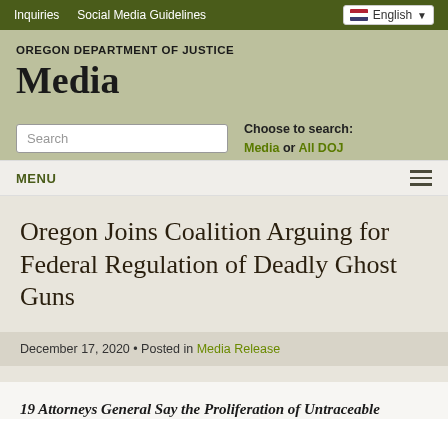Inquiries  Social Media Guidelines  English
OREGON DEPARTMENT OF JUSTICE
Media
Search  Choose to search: Media or All DOJ
MENU
Oregon Joins Coalition Arguing for Federal Regulation of Deadly Ghost Guns
December 17, 2020 • Posted in Media Release
19 Attorneys General Say the Proliferation of Untraceable